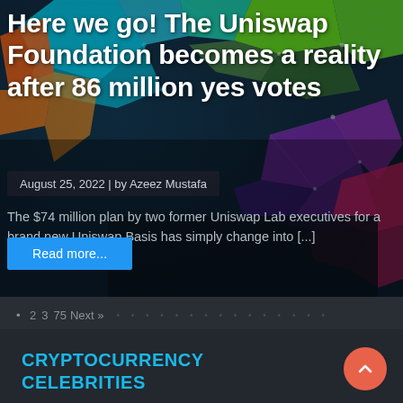[Figure (photo): Dark background with colorful geometric polygon network pattern in teal, green, orange, purple and magenta colors, resembling a blockchain/crypto visualization]
Here we go! The Uniswap Foundation becomes a reality after 86 million yes votes
August 25, 2022 | by Azeez Mustafa
The $74 million plan by two former Uniswap Lab executives for a brand new Uniswap Basis has simply change into [...]
Read more...
2 3 75 Next »
CRYPTOCURRENCY CELEBRITIES